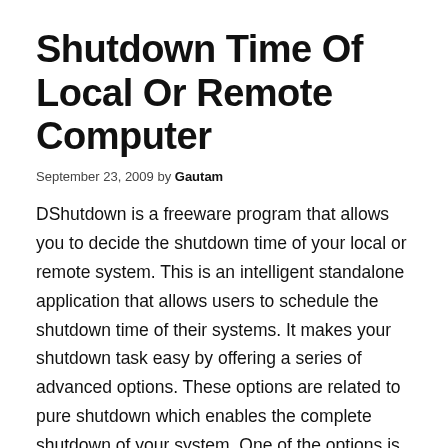Shutdown Time Of Local Or Remote Computer
September 23, 2009 by Gautam
DShutdown is a freeware program that allows you to decide the shutdown time of your local or remote system. This is an intelligent standalone application that allows users to schedule the shutdown time of their systems. It makes your shutdown task easy by offering a series of advanced options. These options are related to pure shutdown which enables the complete shutdown of your system. One of the options is force after wait shutdown. This option enables a forced, however, a clear shutdown after a span of few seconds.